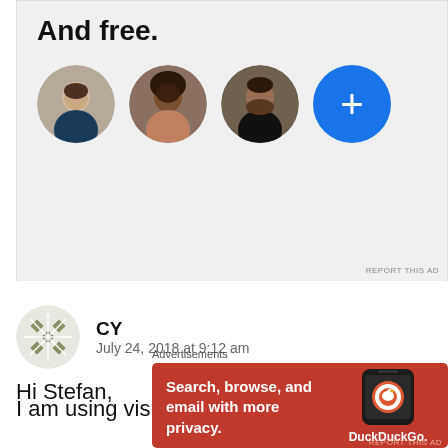[Figure (screenshot): Top advertisement banner with bold text 'And free.' and a row of circular user avatars including three profile photos and a blue plus button. 'REPORT THIS AD' text in bottom right.]
[Figure (illustration): User avatar icon with a geometric diamond/snowflake pattern in olive/grey tones, used as profile picture for commenter CY.]
CY
July 24, 2018 at 9:12 am
Hi Stefan,
I am using visual studio 2017 with SDK 16299 installed
Advertisements
[Figure (screenshot): DuckDuckGo advertisement on orange/red background with text 'Search, browse, and email with more privacy. All in One Free App' and a phone graphic showing the DuckDuckGo logo. 'REPORT THIS AD' in bottom right.]